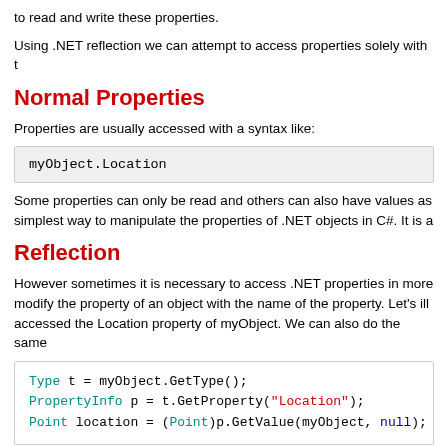to read and write these properties.
Using .NET reflection we can attempt to access properties solely with t
Normal Properties
Properties are usually accessed with a syntax like:
myObject.Location
Some properties can only be read and others can also have values as simplest way to manipulate the properties of .NET objects in C#. It is a
Reflection
However sometimes it is necessary to access .NET properties in more modify the property of an object with the name of the property. Let's ill accessed the Location property of myObject. We can also do the same
Type t = myObject.GetType();
PropertyInfo p = t.GetProperty("Location");
Point location = (Point)p.GetValue(myObject, null);